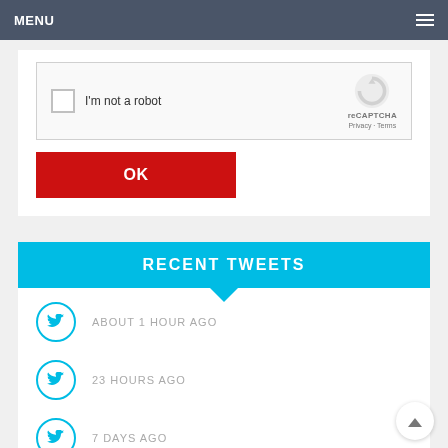MENU
[Figure (screenshot): reCAPTCHA widget with checkbox labeled 'I'm not a robot' and reCAPTCHA logo]
OK
RECENT TWEETS
ABOUT 1 HOUR AGO
23 HOURS AGO
7 DAYS AGO